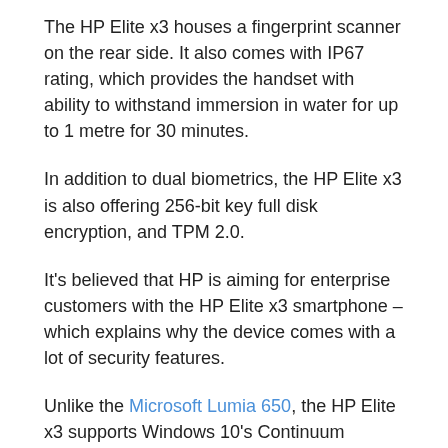The HP Elite x3 houses a fingerprint scanner on the rear side. It also comes with IP67 rating, which provides the handset with ability to withstand immersion in water for up to 1 metre for 30 minutes.
In addition to dual biometrics, the HP Elite x3 is also offering 256-bit key full disk encryption, and TPM 2.0.
It's believed that HP is aiming for enterprise customers with the HP Elite x3 smartphone – which explains why the device comes with a lot of security features.
Unlike the Microsoft Lumia 650, the HP Elite x3 supports Windows 10's Continuum feature. The firm said that it will ship the Elite x3 with two accessories: Desk Dock and Mobile Extender.
The Desk Dock which comes with a Display Port, a USB...